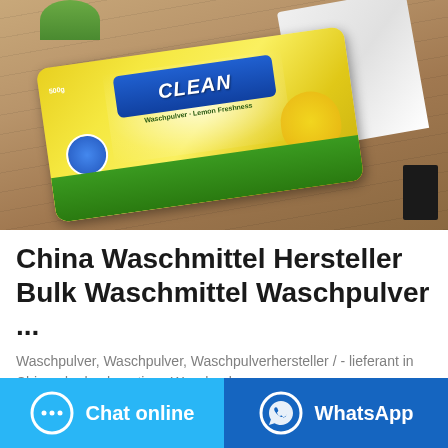[Figure (photo): Product photo of a yellow and green detergent/laundry powder bag (CLEAN brand) lying on a wooden desk surface, with white fabric in the upper right and a small plant in the upper left.]
China Waschmittel Hersteller Bulk Waschmittel Waschpulver ...
Waschpulver, Waschpulver, Waschpulverhersteller / - lieferant in China, der hochwertiges Waschpulver zum